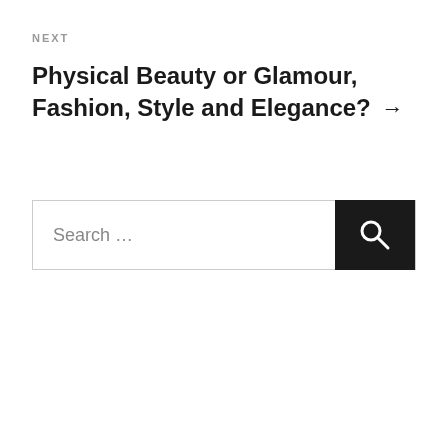NEXT
Physical Beauty or Glamour, Fashion, Style and Elegance? →
[Figure (other): Search bar with text input field reading 'Search …' and a dark search button with magnifying glass icon]